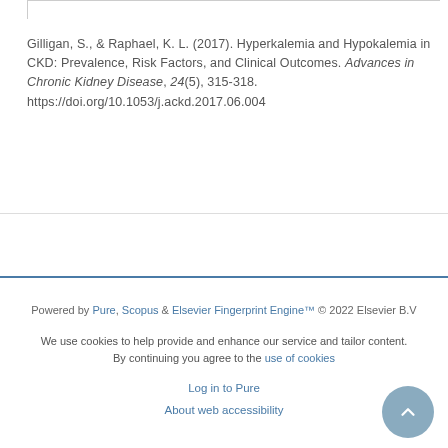Gilligan, S., & Raphael, K. L. (2017). Hyperkalemia and Hypokalemia in CKD: Prevalence, Risk Factors, and Clinical Outcomes. Advances in Chronic Kidney Disease, 24(5), 315-318. https://doi.org/10.1053/j.ackd.2017.06.004
Powered by Pure, Scopus & Elsevier Fingerprint Engine™ © 2022 Elsevier B.V

We use cookies to help provide and enhance our service and tailor content. By continuing you agree to the use of cookies

Log in to Pure

About web accessibility